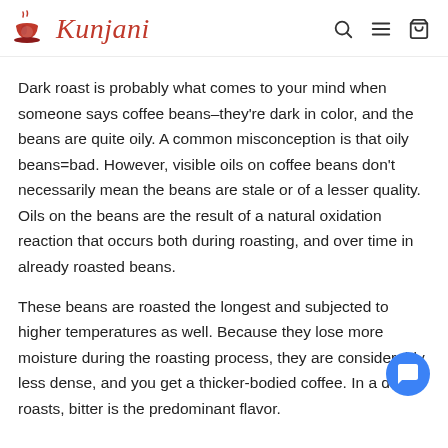Kunjani
Dark roast is probably what comes to your mind when someone says coffee beans–they're dark in color, and the beans are quite oily. A common misconception is that oily beans=bad. However, visible oils on coffee beans don't necessarily mean the beans are stale or of a lesser quality. Oils on the beans are the result of a natural oxidation reaction that occurs both during roasting, and over time in already roasted beans.
These beans are roasted the longest and subjected to higher temperatures as well. Because they lose more moisture during the roasting process, they are considerably less dense, and you get a thicker-bodied coffee. In a dark roasts, bitter is the predominant flavor.